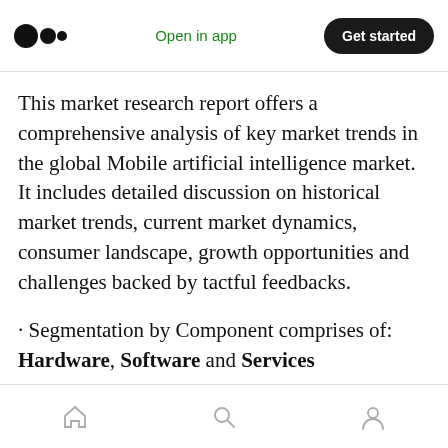Medium app header: logo, Open in app, Get started
This market research report offers a comprehensive analysis of key market trends in the global Mobile artificial intelligence market. It includes detailed discussion on historical market trends, current market dynamics, consumer landscape, growth opportunities and challenges backed by tactful feedbacks.
· Segmentation by Component comprises of: Hardware, Software and Services
· Segmentation by Process Technology comprises
Bottom navigation bar: home, search, profile